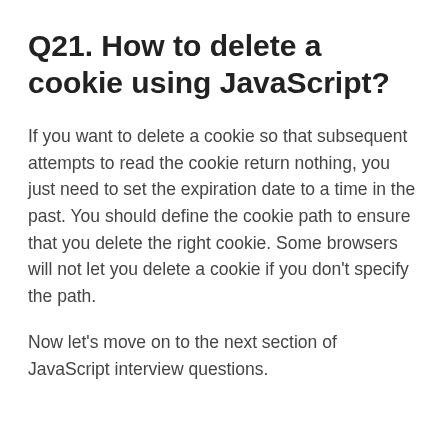Q21. How to delete a cookie using JavaScript?
If you want to delete a cookie so that subsequent attempts to read the cookie return nothing, you just need to set the expiration date to a time in the past. You should define the cookie path to ensure that you delete the right cookie. Some browsers will not let you delete a cookie if you don't specify the path.
Now let's move on to the next section of JavaScript interview questions.